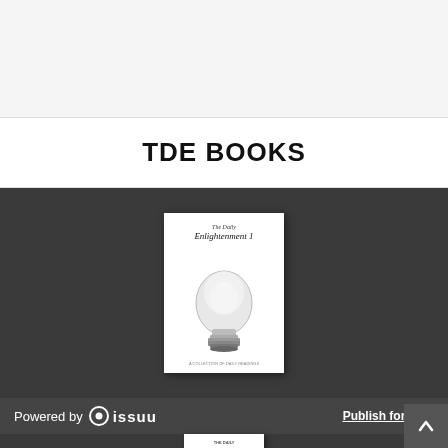[Figure (illustration): Light gray/white empty top section background area]
TDE BOOKS
[Figure (illustration): Book cover for 'The Daily Enlightenment 1' showing a large light bulb on a dark gray background]
Powered by issuu   Publish for Free
[Figure (illustration): Partial book cover for 'The Daily Enlightenment 2' visible at bottom of page on dark gray background]